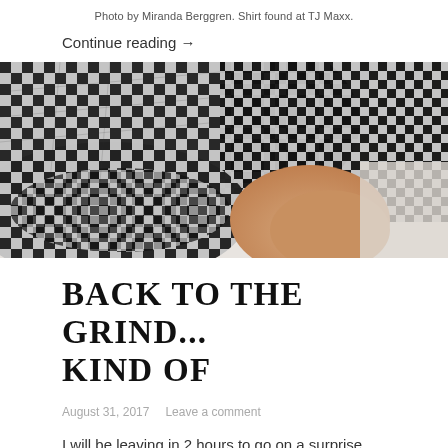Photo by Miranda Berggren. Shirt found at TJ Maxx.
Continue reading →
[Figure (photo): Close-up photo of a black and white gingham check fabric shirt sleeve/cuff with ruffled edge, held by a person's hand against a light background.]
BACK TO THE GRIND... KIND OF
August 31, 2017   Leave a comment
I will be leaving in 2 hours to go on a surprise